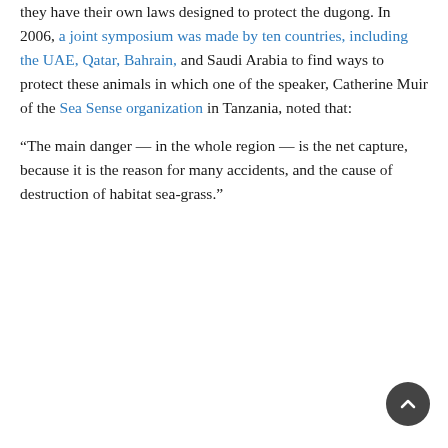they have their own laws designed to protect the dugong. In 2006, a joint symposium was made by ten countries, including the UAE, Qatar, Bahrain, and Saudi Arabia to find ways to protect these animals in which one of the speaker, Catherine Muir of the Sea Sense organization in Tanzania, noted that:
“The main danger — in the whole region — is the net capture, because it is the reason for many accidents, and the cause of destruction of habitat sea-grass.”